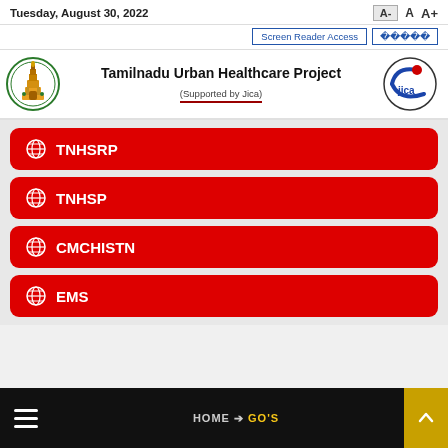Tuesday, August 30, 2022   A-   A   A+   Screen Reader Access   தமிழ்
[Figure (logo): Tamil Nadu state government emblem logo (temple gopuram)]
Tamilnadu Urban Healthcare Project (Supported by Jica)
[Figure (logo): JICA logo - circle with red dot and blue swoosh]
TNHSRP
TNHSP
CMCHISTN
EMS
HOME ➤ GO'S